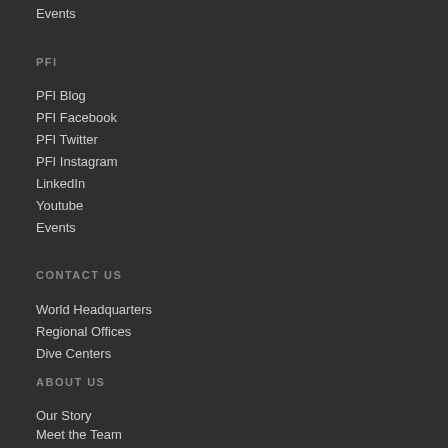Events
PFI
PFI Blog
PFI Facebook
PFI Twitter
PFI Instagram
LinkedIn
Youtube
Events
CONTACT US
World Headquarters
Regional Offices
Dive Centers
ABOUT US
Our Story
Meet the Team
ISO Certified